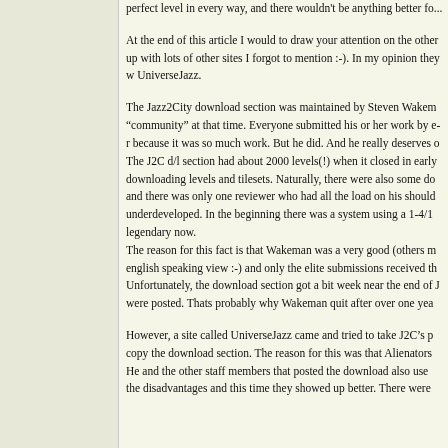perfect level in every way, and there wouldn't be anything better fo...
At the end of this article I would to draw your attention on the other up with lots of other sites I forgot to mention :-). In my opinion they w UniverseJazz.
The Jazz2City download section was maintained by Steven Wakem "community" at that time. Everyone submitted his or her work by e-r because it was so much work. But he did. And he really deserves o The J2C d/l section had about 2000 levels(!) when it closed in early downloading levels and tilesets. Naturally, there were also some do and there was only one reviewer who had all the load on his should underdeveloped. In the beginning there was a system using a 1-4/1 legendary now. The reason for this fact is that Wakeman was a very good (others m english speaking view :-) and only the elite submissions received th Unfortunately, the download section got a bit week near the end of J were posted. Thats probably why Wakeman quit after over one yea
However, a site called UniverseJazz came and tried to take J2C's p copy the download section. The reason for this was that Alienators He and the other staff members that posted the download also use the disadvantages and this time they showed up better. There were